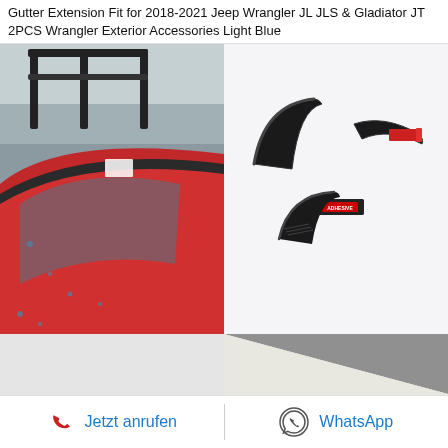Gutter Extension Fit for 2018-2021 Jeep Wrangler JL JLS & Gladiator JT 2PCS Wrangler Exterior Accessories Light Blue
[Figure (photo): Red Jeep Wrangler showing rain gutter area near roof, photographed outdoors]
[Figure (photo): Product photo of two black curved gutter extension pieces with adhesive and glue tube on white background]
Water Rain Gutter Extension For Jeep Wrangler
[Figure (photo): Close-up photo of chrome and black rain gutter extension installed on vehicle roof edge]
Jetzt anrufen   WhatsApp